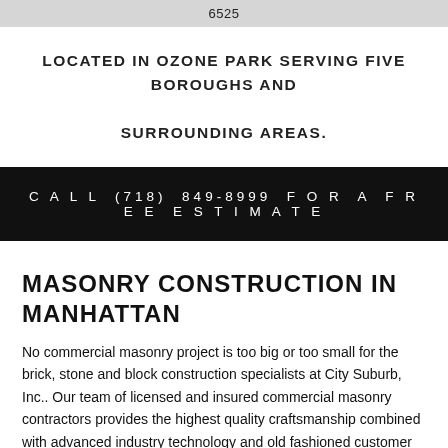6525
LOCATED IN OZONE PARK SERVING FIVE BOROUGHS AND SURROUNDING AREAS.
CALL (718) 849-8999 FOR A FREE ESTIMATE
MASONRY CONSTRUCTION IN MANHATTAN
No commercial masonry project is too big or too small for the brick, stone and block construction specialists at City Suburb, Inc.. Our team of licensed and insured commercial masonry contractors provides the highest quality craftsmanship combined with advanced industry technology and old fashioned customer care. With extensive masonry construction experience in virtually every